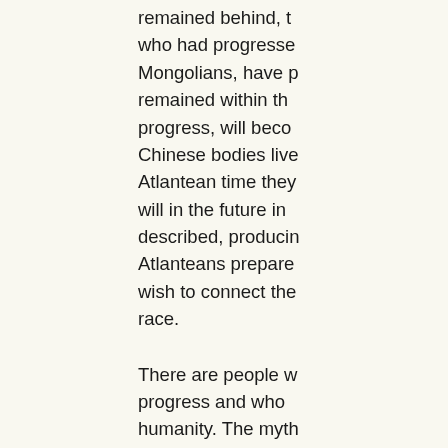remained behind, t... who had progresse... Mongolians, have p... remained within th... progress, will beco... Chinese bodies live... Atlantean time they... will in the future in... described, producin... Atlanteans prepare... wish to connect the... race.
There are people w... progress and who ... humanity. The myth... appropriately Than... forsake father and ...